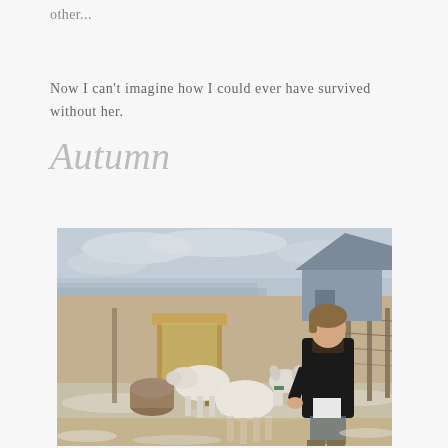other...
Now I can't imagine how I could ever have survived without her.
Autumn
[Figure (photo): A woman in a black winter coat and rubber boots leans down to feed two white goats in a farm enclosure. There is a wooden hay feeder in the background, a wire fence, a grey barn structure, and a snowy winter landscape near a lake or water body. Light snow covers the ground.]